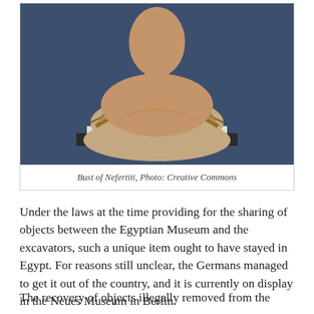[Figure (photo): Bust of Nefertiti displayed on a dark pedestal against a dark blue background. The bust shows the head and upper chest decorated with an elaborate painted collar necklace in multicolored geometric patterns.]
Bust of Nefertiti, Photo: Creative Commons
Under the laws at the time providing for the sharing of objects between the Egyptian Museum and the excavators, such a unique item ought to have stayed in Egypt. For reasons still unclear, the Germans managed to get it out of the country, and it is currently on display in the Neues Museum in Berlin.
The recovery of objects illegally removed from the